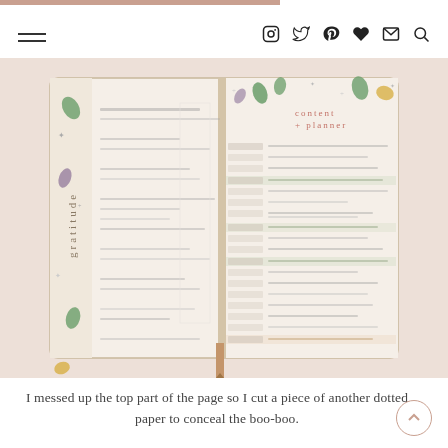Navigation header with hamburger menu and social icons (Instagram, Twitter, Pinterest, Heart, Mail, Search)
[Figure (photo): Open bullet journal / planner spread on a white fluffy background. Left page has decorative leaf/botanical border and 'gratitude' written vertically. Right page has 'content planner' header with green botanical decorations, and rows of dates with handwritten entries. Some rows highlighted in green.]
I messed up the top part of the page so I cut a piece of another dotted paper to conceal the boo-boo.